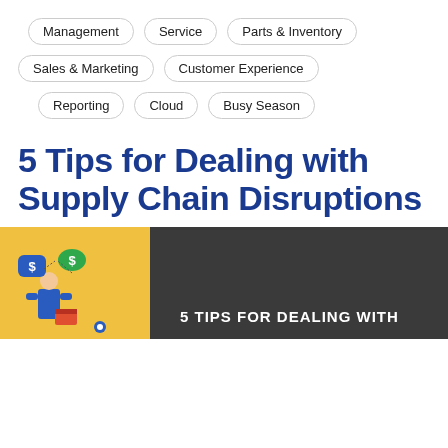Management
Service
Parts & Inventory
Sales & Marketing
Customer Experience
Reporting
Cloud
Busy Season
5 Tips for Dealing with Supply Chain Disruptions
[Figure (illustration): Partial view of an infographic with a yellow background on the left showing a person with dollar sign speech bubbles and package icons, and a dark gray background on the right with white text reading '5 TIPS FOR DEALING WITH']